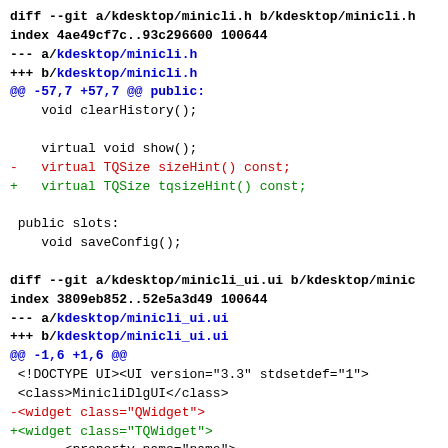diff --git a/kdesktop/minicli.h b/kdesktop/minicli.h
index 4ae49cf7c..93c296600 100644
--- a/kdesktop/minicli.h
+++ b/kdesktop/minicli.h
@@ -57,7 +57,7 @@ public:
    void clearHistory();

    virtual void show();
-   virtual TQSize sizeHint() const;
+   virtual TQSize tqsizeHint() const;

 public slots:
    void saveConfig();

diff --git a/kdesktop/minicli_ui.ui b/kdesktop/minicli_ui.ui
index 3809eb852..52e5a3d49 100644
--- a/kdesktop/minicli_ui.ui
+++ b/kdesktop/minicli_ui.ui
@@ -1,6 +1,6 @@
 <!DOCTYPE UI><UI version="3.3" stdsetdef="1">
 <class>MinicliDlgUI</class>
-<widget class="QWidget">
+<widget class="TQWidget">
        <property name="name">
               <cstring>MinicliDlgUI</cstring>
        </property>
@@ -27,7 +27,7 @@
        <property name="resizeMode">
               <enum>FreeResize</enum>
        </property>